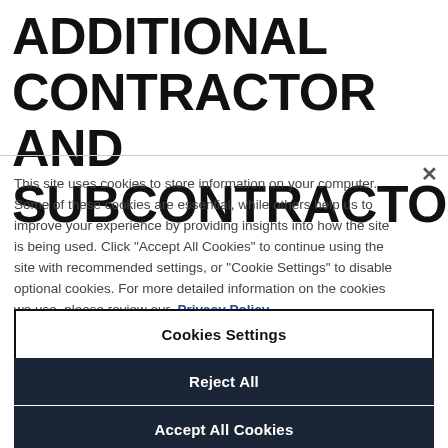ADDITIONAL CONTRACTOR AND SUBCONTRACTOR
This site uses cookies to store information on your computer. Some of these cookies are essential, while others help us to improve your experience by providing insights into how the site is being used. Click "Accept All Cookies" to continue using the site with recommended settings, or "Cookie Settings" to disable optional cookies. For more detailed information on the cookies we use, please review our Privacy Policy
Cookies Settings
Reject All
Accept All Cookies